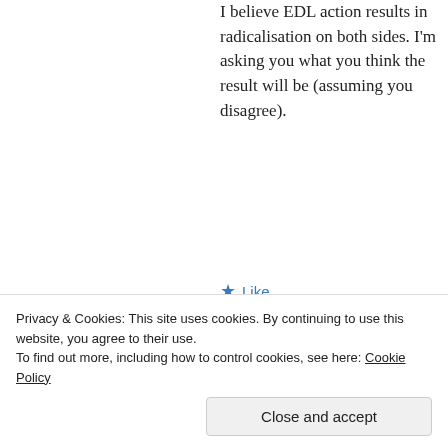I believe EDL action results in radicalisation on both sides. I'm asking you what you think the result will be (assuming you disagree).
★ Like
👍 0 👎 1 ℹ Rate This
[Figure (other): Union Jack / UK flag avatar image]
1 Jun 2013 at 10:54 pm
Just to clear this up, I'm not
Privacy & Cookies: This site uses cookies. By continuing to use this website, you agree to their use.
To find out more, including how to control cookies, see here: Cookie Policy
Close and accept